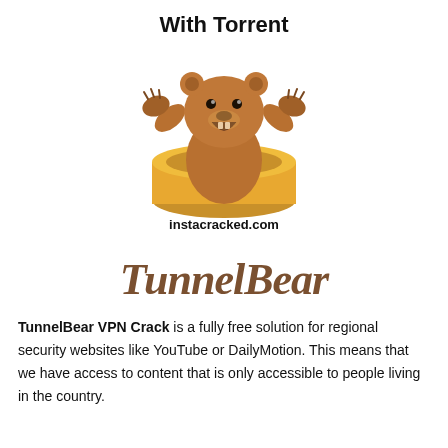With Torrent
[Figure (illustration): TunnelBear mascot: a cartoon brown bear with arms raised, popping out of a yellow cylindrical tunnel/barrel, mouth open, with the watermark text 'instacracked.com' overlaid below the bear]
[Figure (logo): TunnelBear logo in brown cursive/script font reading 'TunnelBear']
TunnelBear VPN Crack is a fully free solution for regional security websites like YouTube or DailyMotion. This means that we have access to content that is only accessible to people living in the country.